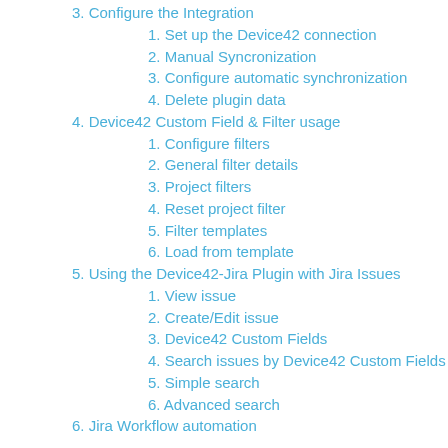3. Configure the Integration
1. Set up the Device42 connection
2. Manual Syncronization
3. Configure automatic synchronization
4. Delete plugin data
4. Device42 Custom Field & Filter usage
1. Configure filters
2. General filter details
3. Project filters
4. Reset project filter
5. Filter templates
6. Load from template
5. Using the Device42-Jira Plugin with Jira Issues
1. View issue
2. Create/Edit issue
3. Device42 Custom Fields
4. Search issues by Device42 Custom Fields
5. Simple search
6. Advanced search
6. Jira Workflow automation